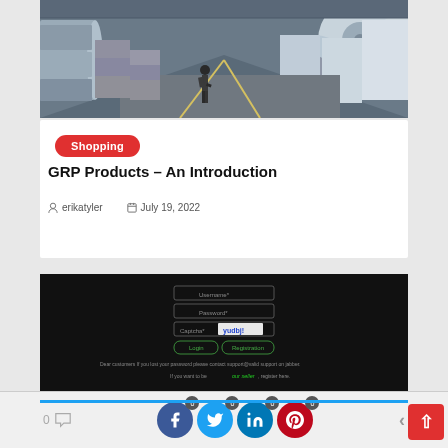[Figure (photo): Industrial warehouse interior with large rolls of steel coils stacked and a worker walking among them]
Shopping
GRP Products – An Introduction
erikatyler   July 19, 2022
[Figure (screenshot): Dark login screen with Username, Password, Captcha fields, Login and Registration buttons, and text about contacting support and becoming a seller]
0  (comment icon)  0 (Facebook) 0 (Twitter) 0 (LinkedIn) 0 (Pinterest)